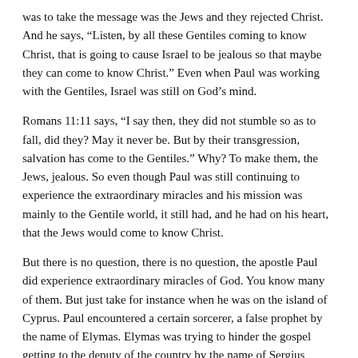was to take the message was the Jews and they rejected Christ. And he says, “Listen, by all these Gentiles coming to know Christ, that is going to cause Israel to be jealous so that maybe they can come to know Christ.” Even when Paul was working with the Gentiles, Israel was still on God’s mind.
Romans 11:11 says, “I say then, they did not stumble so as to fall, did they? May it never be. But by their transgression, salvation has come to the Gentiles.” Why? To make them, the Jews, jealous. So even though Paul was still continuing to experience the extraordinary miracles and his mission was mainly to the Gentile world, it still had, and he had on his heart, that the Jews would come to know Christ.
But there is no question, there is no question, the apostle Paul did experience extraordinary miracles of God. You know many of them. But just take for instance when he was on the island of Cyprus. Paul encountered a certain sorcerer, a false prophet by the name of Elymas. Elymas was trying to hinder the gospel getting to the deputy of the country by the name of Sergius Paulus. He didn’t want him to believe, and so he was intervening in this thing.
Acts 13:6 picks up the story. “And when they had gone through